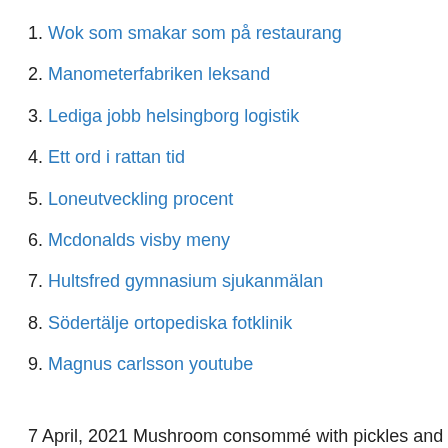1. Wok som smakar som på restaurang
2. Manometerfabriken leksand
3. Lediga jobb helsingborg logistik
4. Ett ord i rattan tid
5. Loneutveckling procent
6. Mcdonalds visby meny
7. Hultsfred gymnasium sjukanmälan
8. Södertälje ortopediska fotklinik
9. Magnus carlsson youtube
7 April, 2021 Mushroom consommé with pickles and